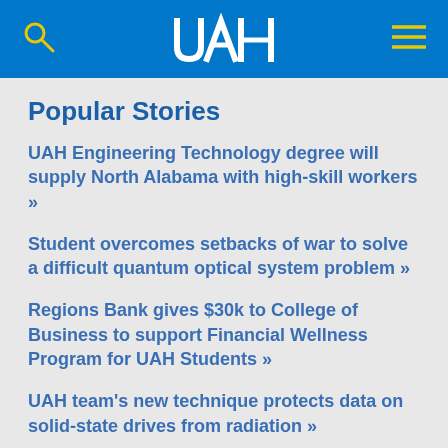[Figure (logo): UAH university logo in white on blue header bar with search icon on left and hamburger menu icon on right]
Popular Stories
UAH Engineering Technology degree will supply North Alabama with high-skill workers »
Student overcomes setbacks of war to solve a difficult quantum optical system problem »
Regions Bank gives $30k to College of Business to support Financial Wellness Program for UAH Students »
UAH team's new technique protects data on solid-state drives from radiation »